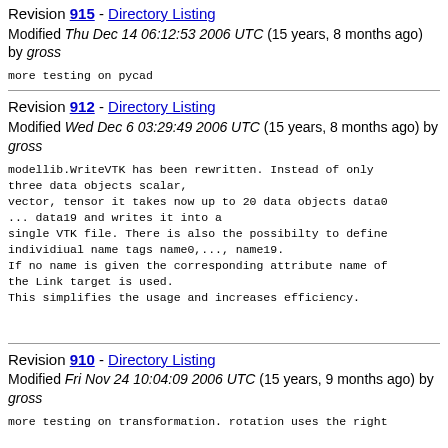Revision 915 - Directory Listing
Modified Thu Dec 14 06:12:53 2006 UTC (15 years, 8 months ago) by gross
more testing on pycad
Revision 912 - Directory Listing
Modified Wed Dec 6 03:29:49 2006 UTC (15 years, 8 months ago) by gross
modellib.WriteVTK has been rewritten. Instead of only three data objects scalar,
vector, tensor it takes now up to 20 data objects data0 ... data19 and writes it into a
single VTK file. There is also the possibilty to define individiual name tags name0,..., name19.
If no name is given the corresponding attribute name of the Link target is used.
This simplifies the usage and increases efficiency.
Revision 910 - Directory Listing
Modified Fri Nov 24 10:04:09 2006 UTC (15 years, 9 months ago) by gross
more testing on transformation. rotation uses the right